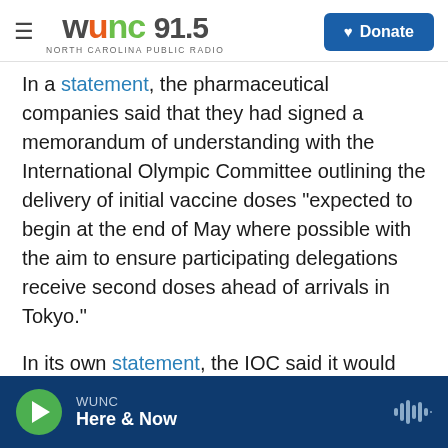WUNC 91.5 NORTH CAROLINA PUBLIC RADIO | Donate
In a statement, the pharmaceutical companies said that they had signed a memorandum of understanding with the International Olympic Committee outlining the delivery of initial vaccine doses "expected to begin at the end of May where possible with the aim to ensure participating delegations receive second doses ahead of arrivals in Tokyo."
In its own statement, the IOC said it would work with national Olympic committees to distribute the vaccines, but said many national governments were already vaccinating participants.
WUNC | Here & Now